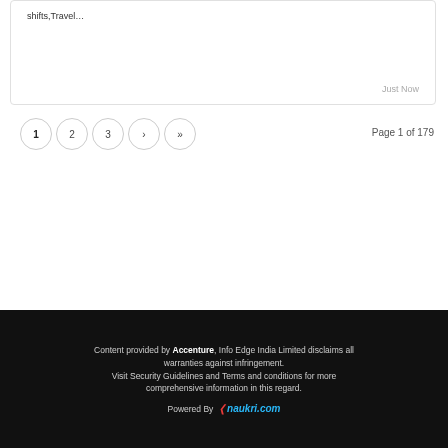shifts,Travel…
Just Now
1  2  3  ›  »   Page 1 of 179
Content provided by Accenture, Info Edge India Limited disclaims all warranties against infringement. Visit Security Guidelines and Terms and conditions for more comprehensive information in this regard. Powered By naukri.com